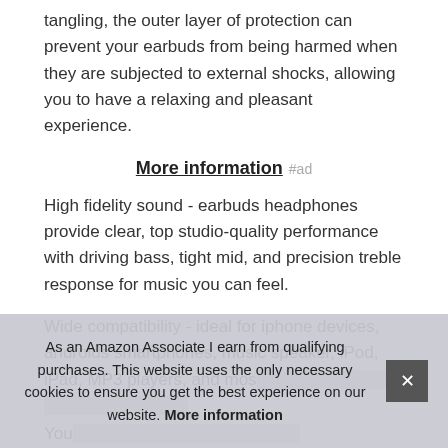tangling, the outer layer of protection can prevent your earbuds from being harmed when they are subjected to external shocks, allowing you to have a relaxing and pleasant experience.
More information #ad
High fidelity sound - earbuds headphones provide clear, top studio-quality performance with driving bass, tight mid, and precision treble response for music you can feel.
Wide compatibility - ideal for iphone devices, androids smartphones, music speaker, iPod, iPad, MP3 players, and mos...
You han for a com
As an Amazon Associate I earn from qualifying purchases. This website uses the only necessary cookies to ensure you get the best experience on our website. More information